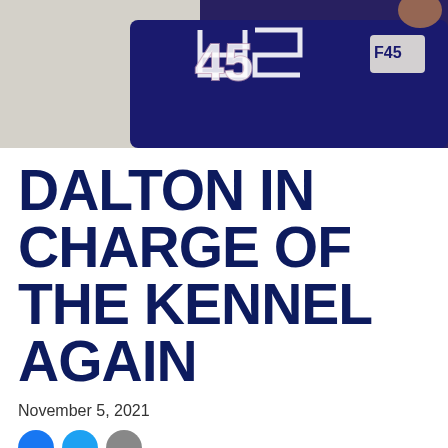[Figure (photo): Person wearing a navy blue jersey with number 45 and a logo patch, upper torso visible against a light background]
DALTON IN CHARGE OF THE KENNEL AGAIN
November 5, 2021